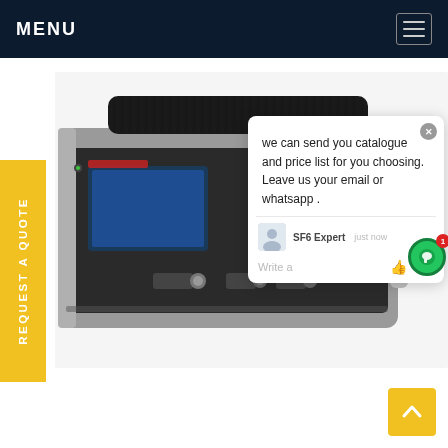MENU
[Figure (photo): Portable SF6 gas analyzer/testing device with black handle, LCD screen, blue rotary knob, and front panel controls. Gray and black metal enclosure.]
REQUEST A QUOTE
we can send you catalogue and price list for you choosing.
Leave us your email or whatsapp .
SF6 Expert   just now
Write a